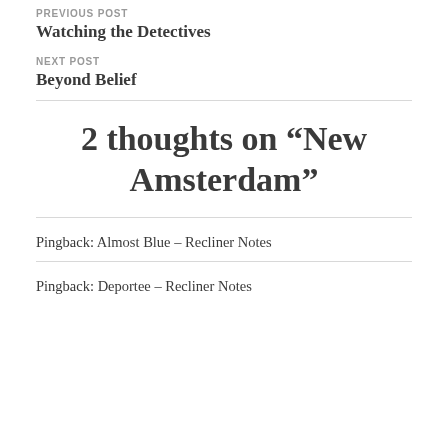PREVIOUS POST
Watching the Detectives
NEXT POST
Beyond Belief
2 thoughts on “New Amsterdam”
Pingback: Almost Blue – Recliner Notes
Pingback: Deportee – Recliner Notes